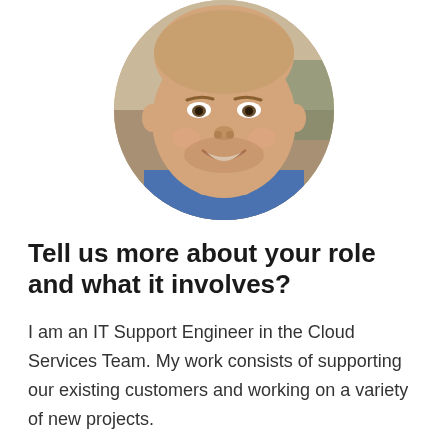[Figure (photo): Circular cropped headshot photo of a young man smiling, wearing a blue hoodie, with a beige/tan background visible behind him.]
Tell us more about your role and what it involves?
I am an IT Support Engineer in the Cloud Services Team. My work consists of supporting our existing customers and working on a variety of new projects.